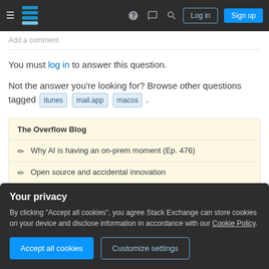Stack Exchange navigation header with Log in and Sign up buttons
Add a comment
You must log in to answer this question.
Not the answer you're looking for? Browse other questions tagged itunes mail.app macos .
The Overflow Blog
Why AI is having an on-prem moment (Ep. 476)
Open source and accidental innovation
Your privacy
By clicking "Accept all cookies", you agree Stack Exchange can store cookies on your device and disclose information in accordance with our Cookie Policy.
Related